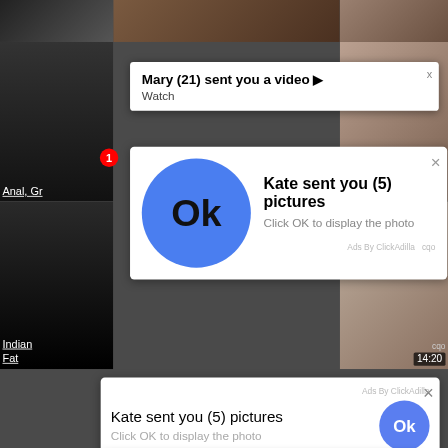[Figure (screenshot): Screenshot of a webpage showing adult video thumbnails in the background with multiple overlapping popup/notification ads from ClickAdilla. Top popup: 'Mary (21) sent you a video ▶ Watch'. Middle popup: 'Kate sent you (5) pictures / Click OK to display the photo' with large blue OK circle. Lower popup: 'Kate sent you (5) pictures / Click OK to display the photo' with small OK circle and 'Ads By ClickAdilla' label. Bottom area: large blue OK circle on white background with 'cqo' watermark and time stamp 14:20. Left side shows video thumbnails with labels 'Anal, Gr' and 'Indian Fat'.]